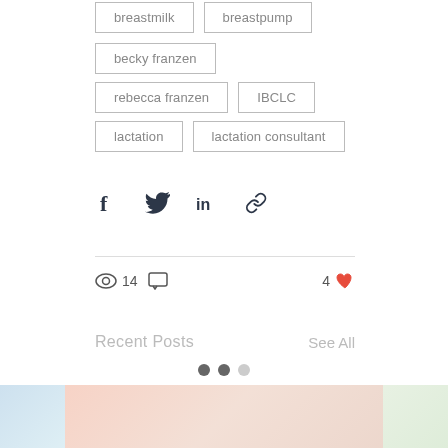breastmilk
breastpump
becky franzen
rebecca franzen
IBCLC
lactation
lactation consultant
14 views  0 comments  4 likes
Recent Posts
See All